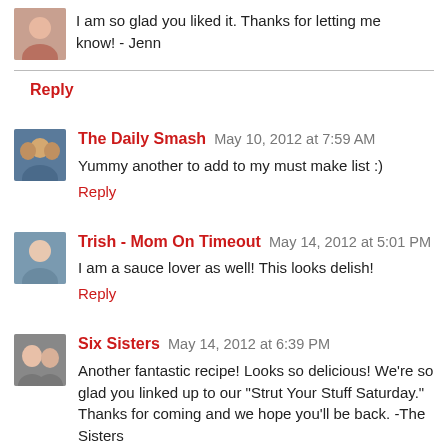I am so glad you liked it. Thanks for letting me know! - Jenn
Reply
The Daily Smash  May 10, 2012 at 7:59 AM
Yummy another to add to my must make list :)
Reply
Trish - Mom On Timeout  May 14, 2012 at 5:01 PM
I am a sauce lover as well! This looks delish!
Reply
Six Sisters  May 14, 2012 at 6:39 PM
Another fantastic recipe! Looks so delicious! We're so glad you linked up to our "Strut Your Stuff Saturday." Thanks for coming and we hope you'll be back. -The Sisters